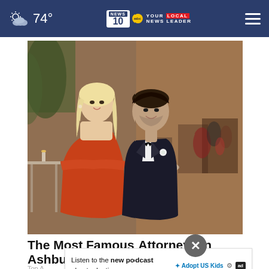74° NEWS 10 abc YOUR LOCAL NEWS LEADER
[Figure (photo): A couple at a formal event; woman in orange strapless dress and man in black tuxedo with bow tie and white boutonniere, standing in a ballroom setting]
The Most Famous Attorneys in Ashburn - See The List
Top A...
Listen to the new podcast about adoption.